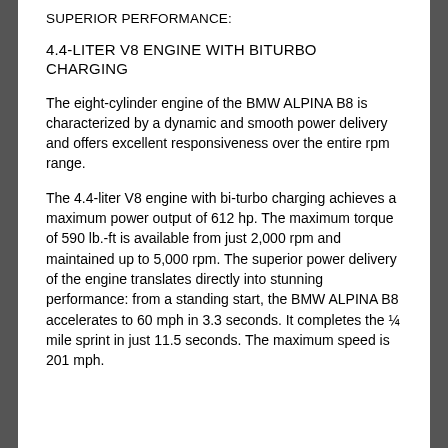SUPERIOR PERFORMANCE:
4.4-LITER V8 ENGINE WITH BITURBO CHARGING
The eight-cylinder engine of the BMW ALPINA B8 is characterized by a dynamic and smooth power delivery and offers excellent responsiveness over the entire rpm range.
The 4.4-liter V8 engine with bi-turbo charging achieves a maximum power output of 612 hp. The maximum torque of 590 lb.-ft is available from just 2,000 rpm and maintained up to 5,000 rpm. The superior power delivery of the engine translates directly into stunning performance: from a standing start, the BMW ALPINA B8 accelerates to 60 mph in 3.3 seconds. It completes the ¼ mile sprint in just 11.5 seconds. The maximum speed is 201 mph.